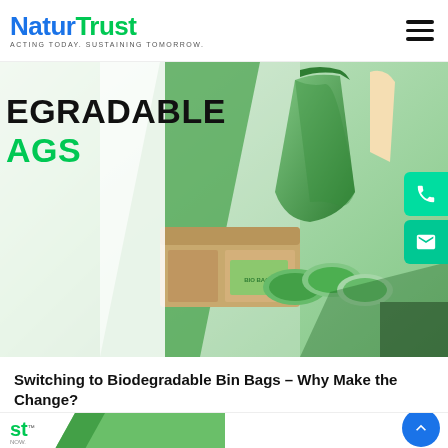NaturTrust — ACTING TODAY. SUSTAINING TOMORROW.
[Figure (photo): Hero banner showing biodegradable bin bags — green plastic bags on rolls and a cardboard box packaging, with a person holding a green bin bag. Text overlay reads 'EGRADABLE BAGS' (partially visible).]
Switching to Biodegradable Bin Bags – Why Make the Change?
[Figure (photo): Bottom preview card showing partial NaturTrust logo and a green food/vegetable image.]